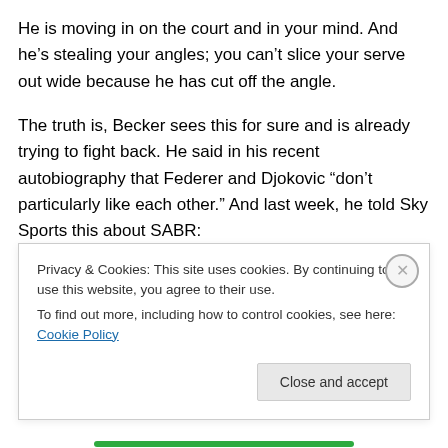He is moving in on the court and in your mind. And he's stealing your angles; you can't slice your serve out wide because he has cut off the angle.
The truth is, Becker sees this for sure and is already trying to fight back. He said in his recent autobiography that Federer and Djokovic “don’t particularly like each other.” And last week, he told Sky Sports this about SABR:
“If he (Federer) would have played a McEnroe, Connors, Lendl or even me, we would have said, `Roger, in all honesty, I like you very much, I’ll go straight at you.’ In my...
Privacy & Cookies: This site uses cookies. By continuing to use this website, you agree to their use.
To find out more, including how to control cookies, see here: Cookie Policy